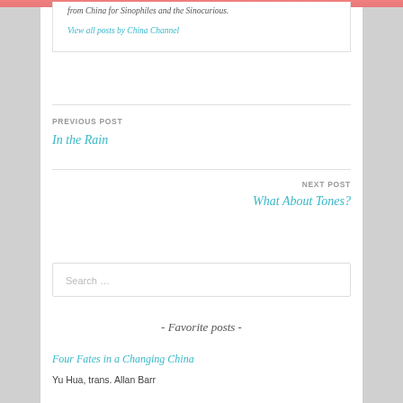from China for Sinophiles and the Sinocurious.
View all posts by China Channel
PREVIOUS POST
In the Rain
NEXT POST
What About Tones?
Search …
- Favorite posts -
Four Fates in a Changing China
Yu Hua, trans. Allan Barr